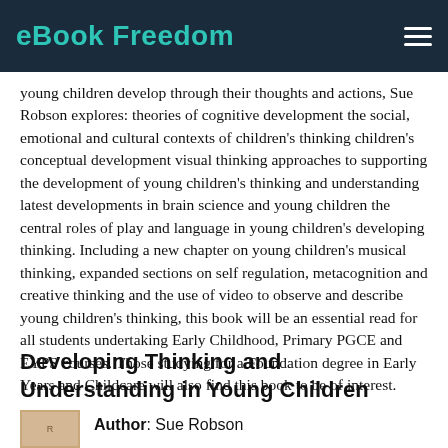eBook Freedom
young children develop through their thoughts and actions, Sue Robson explores: theories of cognitive development the social, emotional and cultural contexts of children's thinking children's conceptual development visual thinking approaches to supporting the development of young children's thinking and understanding latest developments in brain science and young children the central roles of play and language in young children's developing thinking. Including a new chapter on young children's musical thinking, expanded sections on self regulation, metacognition and creative thinking and the use of video to observe and describe young children's thinking, this book will be an essential read for all students undertaking Early Childhood, Primary PGCE and EYPS courses. Those studying for a Foundation degree in Early Years and Childcare will also find this book to be of interest.
Developing Thinking and Understanding in Young Children
Author: Sue Robson